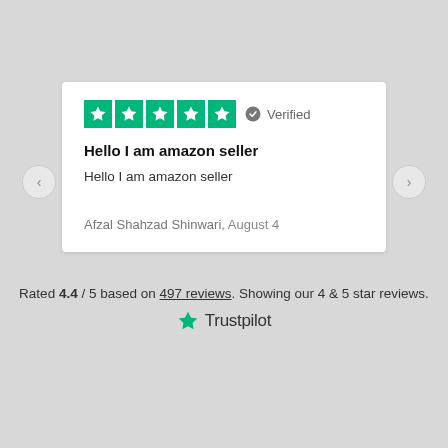[Figure (screenshot): Five green star rating boxes (Trustpilot style) followed by a grey verified badge icon and the text 'Verified']
Hello I am amazon seller
Hello I am amazon seller
Afzal Shahzad Shinwari, August 4
Rated 4.4 / 5 based on 497 reviews. Showing our 4 & 5 star reviews.
[Figure (logo): Trustpilot logo with green star and 'Trustpilot' text]